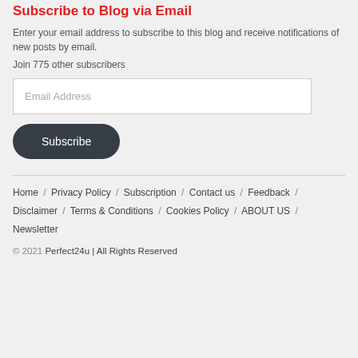Subscribe to Blog via Email
Enter your email address to subscribe to this blog and receive notifications of new posts by email.
Join 775 other subscribers
Email Address
Subscribe
Home / Privacy Policy / Subscription / Contact us / Feedback / Disclaimer / Terms & Conditions / Cookies Policy / ABOUT US / Newsletter
© 2021 Perfect24u | All Rights Reserved